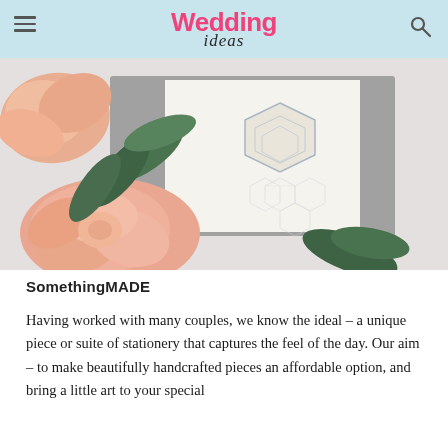Wedding ideas
[Figure (photo): Grey wedding stationery book with hexagonal geometric pattern cutout, surrounded by peach/pink roses and green leaves on a white background]
SomethingMADE
Having worked with many couples, we know the ideal – a unique piece or suite of stationery that captures the feel of the day. Our aim – to make beautifully handcrafted pieces an affordable option, and bring a little art to your special